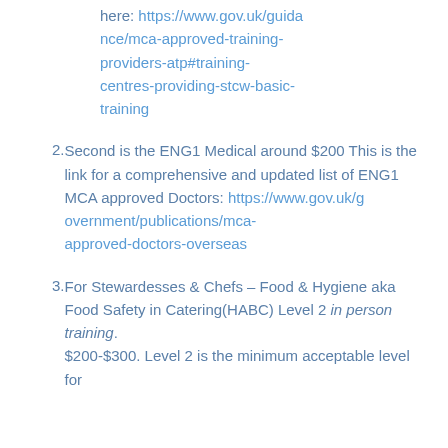here: https://www.gov.uk/guidance/mca-approved-training-providers-atp#training-centres-providing-stcw-basic-training
2. Second is the ENG1 Medical around $200 This is the link for a comprehensive and updated list of ENG1 MCA approved Doctors: https://www.gov.uk/government/publications/mca-approved-doctors-overseas
3. For Stewardesses & Chefs - Food & Hygiene aka Food Safety in Catering(HABC) Level 2 in person training. $200-$300. Level 2 is the minimum acceptable level for